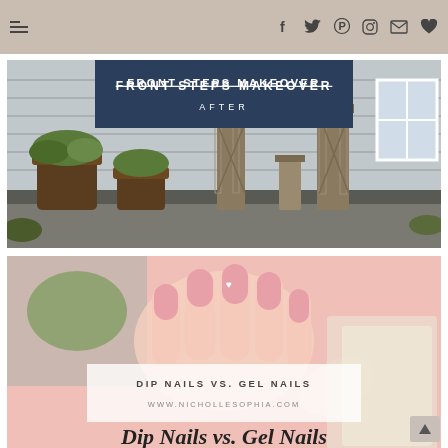Navigation and social icon header bar
[Figure (photo): Front porch/steps makeover photo with dark navy overlay banner reading 'FRONT STEPS MAKEOVER / AFTER'. Shows potted plants, wooden lanterns, and porch steps.]
[Figure (photo): Close-up photo of a hand with pink manicured nails with a small heart design, overlaid with a white semi-transparent box reading 'DIP NAILS VS. GEL NAILS' and 'WWW.NICHOLLESOPHIA.COM'. Partially visible script text at bottom reads 'Dip Nails vs. Gel Nails'.]